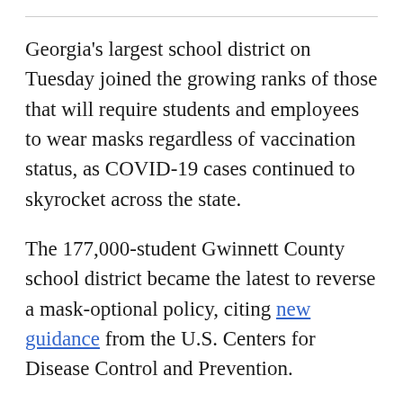Georgia's largest school district on Tuesday joined the growing ranks of those that will require students and employees to wear masks regardless of vaccination status, as COVID-19 cases continued to skyrocket across the state.
The 177,000-student Gwinnett County school district became the latest to reverse a mask-optional policy, citing new guidance from the U.S. Centers for Disease Control and Prevention.
“The first and most recent data is…”